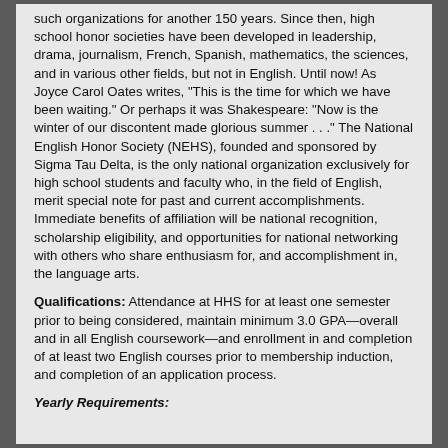such organizations for another 150 years. Since then, high school honor societies have been developed in leadership, drama, journalism, French, Spanish, mathematics, the sciences, and in various other fields, but not in English. Until now! As Joyce Carol Oates writes, "This is the time for which we have been waiting." Or perhaps it was Shakespeare: "Now is the winter of our discontent made glorious summer . . ." The National English Honor Society (NEHS), founded and sponsored by Sigma Tau Delta, is the only national organization exclusively for high school students and faculty who, in the field of English, merit special note for past and current accomplishments. Immediate benefits of affiliation will be national recognition, scholarship eligibility, and opportunities for national networking with others who share enthusiasm for, and accomplishment in, the language arts.
Qualifications: Attendance at HHS for at least one semester prior to being considered, maintain minimum 3.0 GPA—overall and in all English coursework—and enrollment in and completion of at least two English courses prior to membership induction, and completion of an application process.
Yearly Requirements: Requirements are...